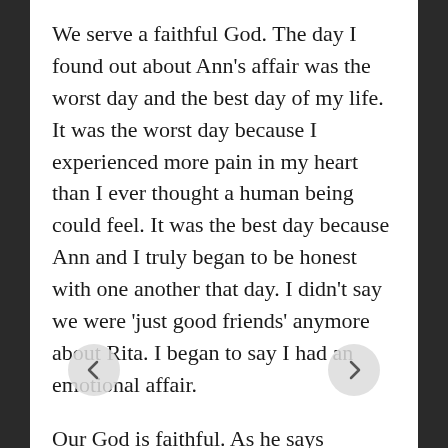We serve a faithful God. The day I found out about Ann's affair was the worst day and the best day of my life. It was the worst day because I experienced more pain in my heart than I ever thought a human being could feel. It was the best day because Ann and I truly began to be honest with one another that day. I didn't say we were 'just good friends' anymore about Rita. I began to say I had an emotional affair.
Our God is faithful. As he says suffering produces perseverance, perseverance character and character hope. It was a long battle through the suffering and perseverance, but it did and continues to build character and I do live with hope. I live with the hope of growing ever closer to my wife